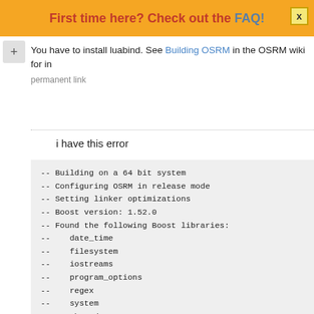First time here? Check out the FAQ!
You have to install luabind. See Building OSRM in the OSRM wiki for in
permanent link
i have this error
-- Building on a 64 bit system
-- Configuring OSRM in release mode
-- Setting linker optimizations
-- Boost version: 1.52.0
-- Found the following Boost libraries:
--    date_time
--    filesystem
--    iostreams
--    program_options
--    regex
--    system
--    thread
--    unit_test_framework
-- Found Intel TBB